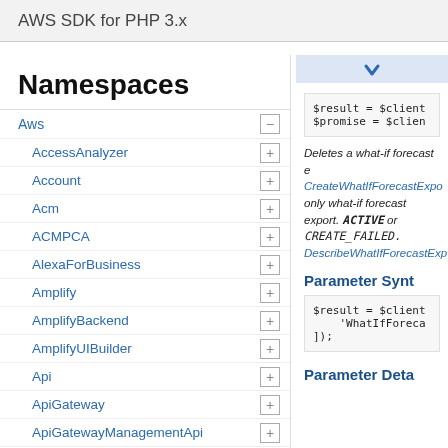AWS SDK for PHP 3.x
Namespaces
Aws
AccessAnalyzer
Account
Acm
ACMPCA
AlexaForBusiness
Amplify
AmplifyBackend
AmplifyUIBuilder
Api
ApiGateway
ApiGatewayManagementApi
$result = $client
$promise = $clien
Deletes a what-if forecast e CreateWhatIfForecastExpo only what-if forecast export. ACTIVE or CREATE_FAILED. DescribeWhatIfForecastExp
Parameter Synt
$result = $client
    'WhatIfForeca
]);
Parameter Deta